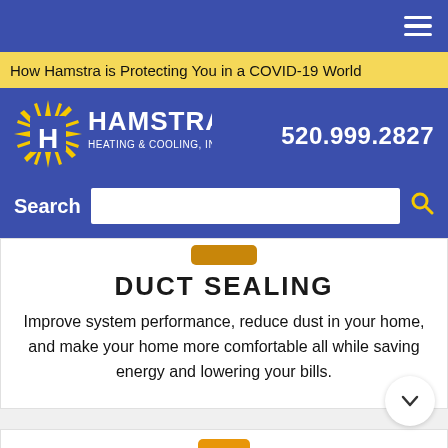Hamstra Heating & Cooling navigation bar with hamburger menu
How Hamstra is Protecting You in a COVID-19 World
[Figure (logo): Hamstra Heating & Cooling, Inc. logo with sunburst and H emblem]
520.999.2827
Search
DUCT SEALING
Improve system performance, reduce dust in your home, and make your home more comfortable all while saving energy and lowering your bills.